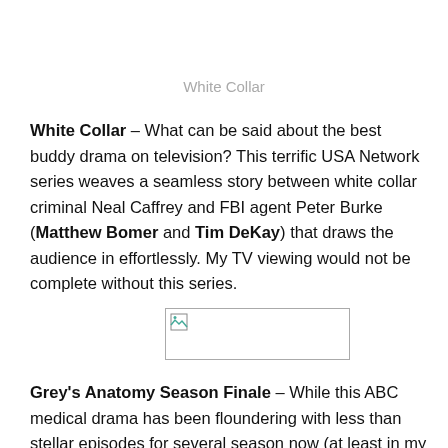White Collar
White Collar – What can be said about the best buddy drama on television? This terrific USA Network series weaves a seamless story between white collar criminal Neal Caffrey and FBI agent Peter Burke (Matthew Bomer and Tim DeKay) that draws the audience in effortlessly. My TV viewing would not be complete without this series.
[Figure (photo): Broken image placeholder for White Collar TV show image]
Grey's Anatomy Season Finale – While this ABC medical drama has been floundering with less than stellar episodes for several season now (at least in my eyes), the